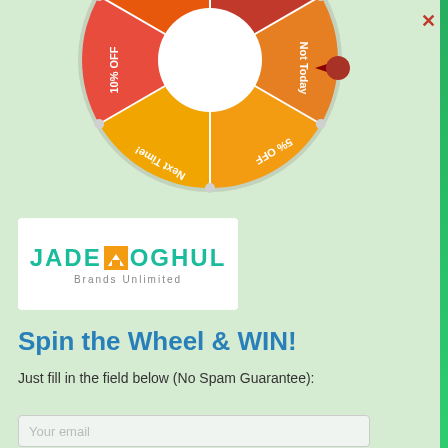[Figure (other): Spin the wheel graphic — a colorful prize wheel showing segments labeled '10% OFF', 'Not Today', '5% OFF', 'Next Time!', '10% OFF', 'Almost', with a pointer/arrow. The wheel is partially cropped at the top of the image.]
[Figure (logo): Jade Moghul Brands Unlimited logo — teal text 'JADE' and 'OGHUL' with a stylized orange/yellow 'M' icon in between, and 'Brands Unlimited' below in smaller text.]
Spin the Wheel & WIN!
Just fill in the field below (No Spam Guarantee):
Your email